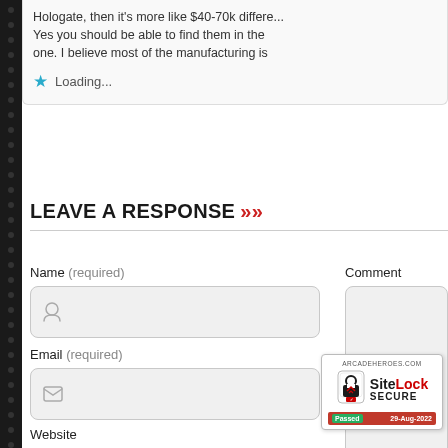Hologate, then it's more like $40-70k differe... Yes you should be able to find them in the one. I believe most of the manufacturing is
Loading...
LEAVE A RESPONSE >>
Name (required)
Comment
Email (required)
Website
[Figure (logo): SiteLock SECURE badge from arcadeheroes.com, Passed 29-Aug-2022]